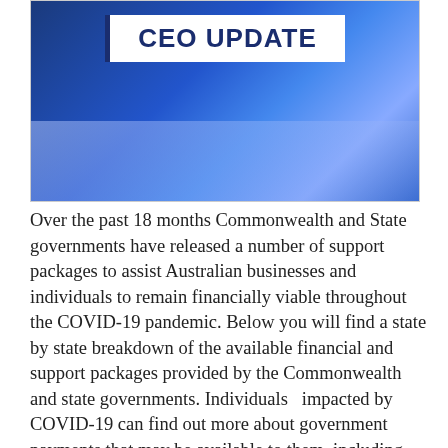[Figure (illustration): CEO Update banner image with blue network/technology background and white banner containing bold dark blue text 'CEO UPDATE' with a left border accent]
Over the past 18 months Commonwealth and State governments have released a number of support packages to assist Australian businesses and individuals to remain financially viable throughout the COVID-19 pandemic. Below you will find a state by state breakdown of the available financial and support packages provided by the Commonwealth and state governments. Individuals  impacted by COVID-19 can find out more about government payments that may be available to them, including the COVID-19 Disaster Payment - a lump sum payment to help employees unable to earn income due to a COVID-19 lockdown. The Pandemic Leave Disaster Payment is available to individuals who cannot generate an income due to self-